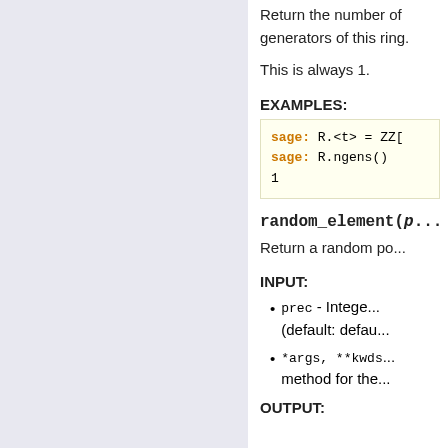Return the number of generators of this ring.
This is always 1.
EXAMPLES:
[Figure (screenshot): Code block showing sage: R.<t> = ZZ[ and sage: R.ngens() and 1]
random_element(p...
Return a random po...
INPUT:
prec - Intege... (default: defau...
*args, **kwds... method for the...
OUTPUT: